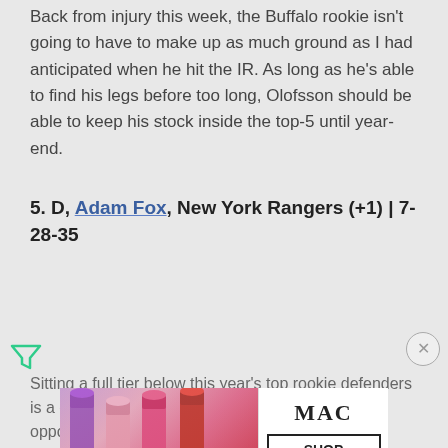Back from injury this week, the Buffalo rookie isn't going to have to make up as much ground as I had anticipated when he hit the IR. As long as he's able to find his legs before too long, Olofsson should be able to keep his stock inside the top-5 until year-end.
5. D, Adam Fox, New York Rangers (+1) | 7-28-35
Sitting a full tier below this year's top rookie defenders is a d... Fox yea... opportunity hasn't come close to matching either.
[Figure (other): MAC cosmetics lipstick advertisement banner with lipsticks in purple, pink, and red colors, MAC logo, and SHOP NOW button]